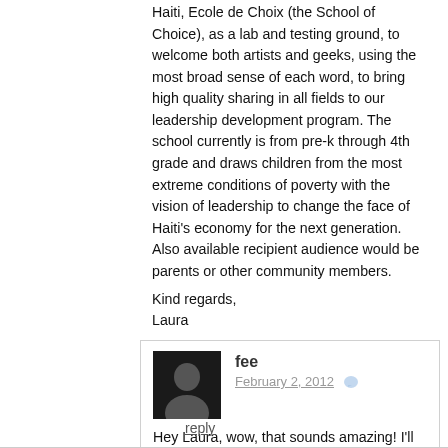Haiti, Ecole de Choix (the School of Choice), as a lab and testing ground, to welcome both artists and geeks, using the most broad sense of each word, to bring high quality sharing in all fields to our leadership development program. The school currently is from pre-k through 4th grade and draws children from the most extreme conditions of poverty with the vision of leadership to change the face of Haiti's economy for the next generation. Also available recipient audience would be parents or other community members.
Kind regards,
Laura
reply
fee
February 2, 2012
Hey Laura, wow, that sounds amazing! I'll have to keep in touch with you as things develop.
Thanks!
reply